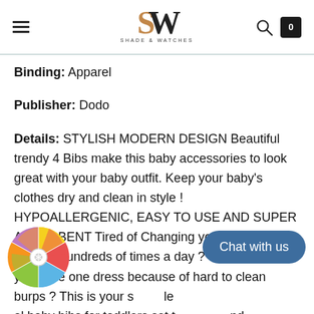Shade & Watches
Binding: Apparel
Publisher: Dodo
Details: STYLISH MODERN DESIGN Beautiful trendy 4 Bibs make this baby accessories to look great with your baby outfit. Keep your baby's clothes dry and clean in style ! HYPOALLERGENIC, EASY TO USE AND SUPER ABSORBENT Tired of Changing your baby's shirt burping hundreds of times a day ? Tired of ruin your love one dress because of hard to clean burps ? This is your solution, comfortable baby bibs for toddlers set that fits and adjustable as you baby grow. AWESOME PACIFIER BAG GIFT This set will come with a beautiful style pacifier